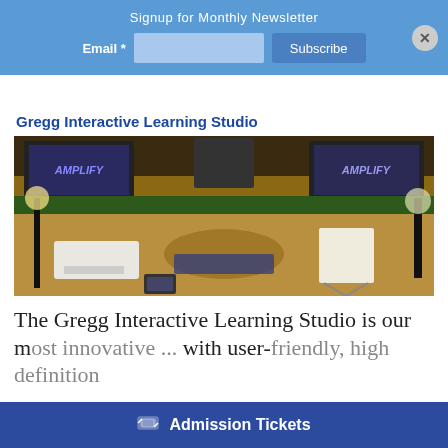Signup for Monthly Newsletter
Email *
[Figure (screenshot): Photo of the Gregg Interactive Learning Studio showing a modern conference/presentation room with multiple projection screens displaying 'AMPLIFY', a circular central table, plants, and studio lighting.]
Gregg Interactive Learning Studio
The Gregg Interactive Interactive Learning Studio is our most innovative ... with user-friendly, high definition
Admission Tickets